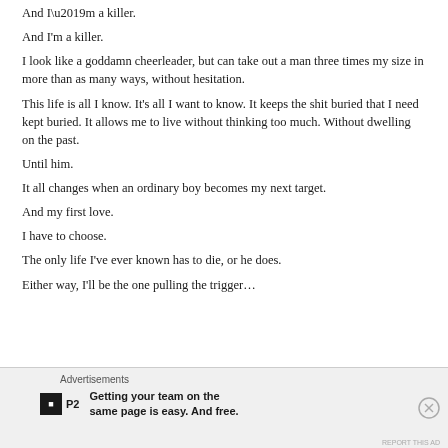And I’m a killer.
I look like a goddamn cheerleader, but can take out a man three times my size in more than as many ways, without hesitation.
This life is all I know. It’s all I want to know. It keeps the shit buried that I need kept buried. It allows me to live without thinking too much. Without dwelling on the past.
Until him.
It all changes when an ordinary boy becomes my next target.
And my first love.
I have to choose.
The only life I’ve ever known has to die, or he does.
Either way, I’ll be the one pulling the trigger…
Advertisements
Getting your team on the same page is easy. And free.